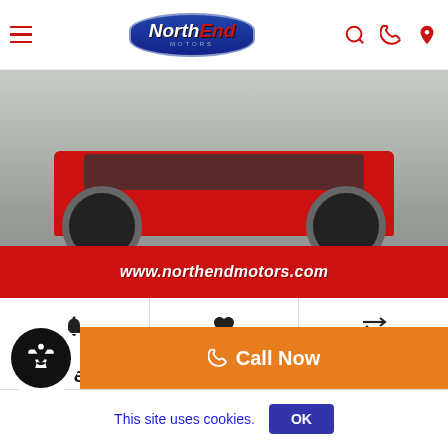NorthEnd Motors navigation bar with logo, search, phone, and location icons
[Figure (photo): Red Jeep Wrangler Unlimited Sahara partial rear/side view in parking lot. Red banner at bottom reads www.northendmotors.com]
🔔  ♥  ⇄
2017 Jeep Wrangler Unlimited Sahara
Miles: 61,727
Stock: B21380
Final Price: $33,900
Finance For: $491/mo
Call Now
This site uses cookies.  OK